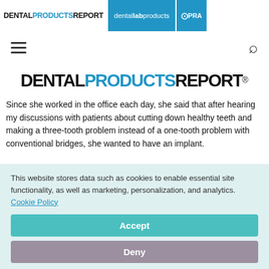DENTAL PRODUCTS REPORT | dental lab products | IPRA
[Figure (logo): DENTAL PRODUCTS REPORT main logo in large black and blue text]
Since she worked in the office each day, she said that after hearing my discussions with patients about cutting down healthy teeth and making a three-tooth problem instead of a one-tooth problem with conventional bridges, she wanted to have an implant.
This website stores data such as cookies to enable essential site functionality, as well as marketing, personalization, and analytics. Cookie Policy
Accept
Deny